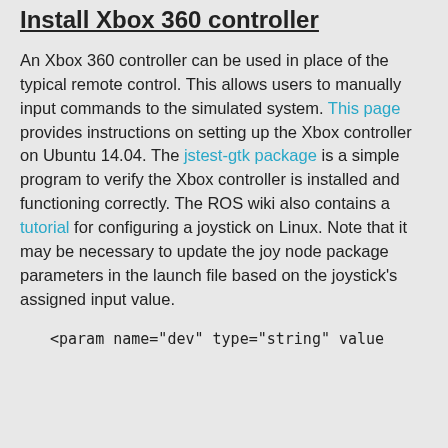Install Xbox 360 controller
An Xbox 360 controller can be used in place of the typical remote control. This allows users to manually input commands to the simulated system. This page provides instructions on setting up the Xbox controller on Ubuntu 14.04. The jstest-gtk package is a simple program to verify the Xbox controller is installed and functioning correctly. The ROS wiki also contains a tutorial for configuring a joystick on Linux. Note that it may be necessary to update the joy node package parameters in the launch file based on the joystick's assigned input value.
<param name="dev" type="string" value